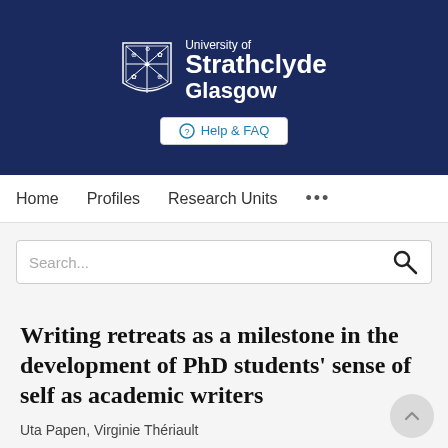[Figure (logo): University of Strathclyde Glasgow logo with shield crest and white text on dark navy background, with Help & FAQ button]
Home   Profiles   Research Units   ...
Search...
Writing retreats as a milestone in the development of PhD students' sense of self as academic writers
Uta Papen, Virginie Thériault